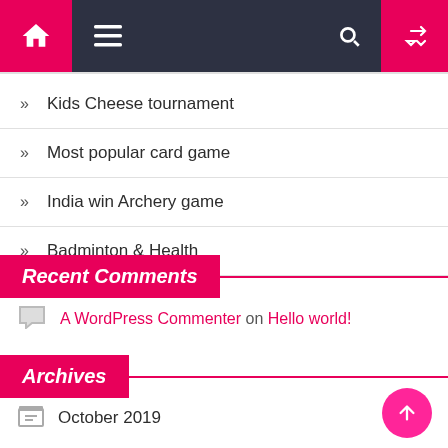Navigation bar with home, menu, search, and shuffle icons
Kids Cheese tournament
Most popular card game
India win Archery game
Badminton & Health
Recent Comments
A WordPress Commenter on Hello world!
Archives
October 2019